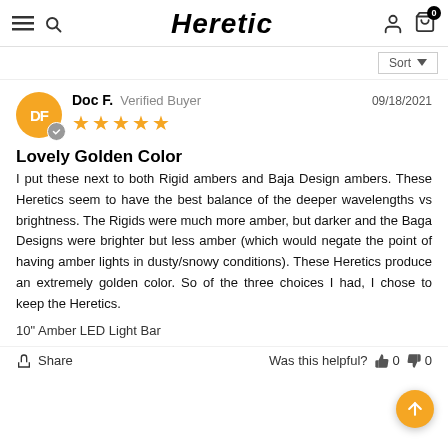Heretic
Doc F.  Verified Buyer  09/18/2021  ★★★★★
Lovely Golden Color
I put these next to both Rigid ambers and Baja Design ambers. These Heretics seem to have the best balance of the deeper wavelengths vs brightness. The Rigids were much more amber, but darker and the Baga Designs were brighter but less amber (which would negate the point of having amber lights in dusty/snowy conditions). These Heretics produce an extremely golden color. So of the three choices I had, I chose to keep the Heretics.
10" Amber LED Light Bar
Share   Was this helpful?  👍 0  👎 0